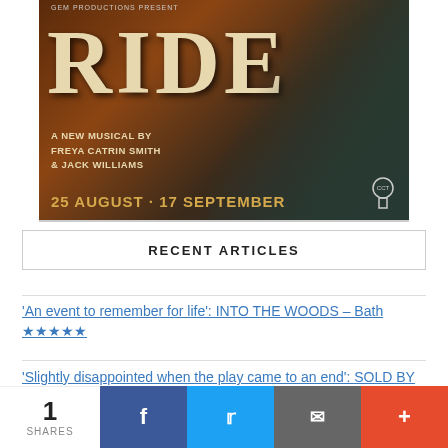[Figure (photo): Promotional poster for 'RIDE - A New Musical by Freya Catrin Smith & Jack Williams', running 25 August - 17 September at Charing Cross Theatre, presented by GEM Productions. Shows large text RIDE over a dark vintage background with a person on a bicycle.]
RECENT ARTICLES
'An event to remember for life': INTO THE WOODS – Bath ★★★★★
'Slightly disappointed when the play came to an end': SOLD BY MAMA – Camden Fringe
1
SHARES